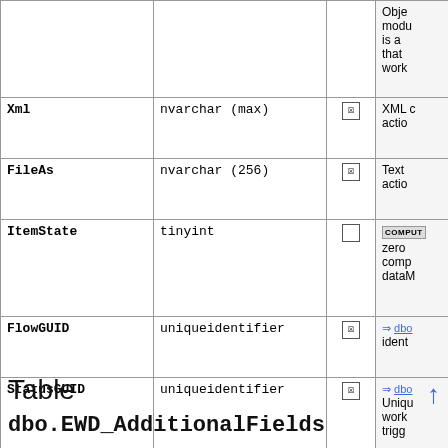| Column | Type | Null | Description |
| --- | --- | --- | --- |
|  |  |  | Objec modu is a that wort |
| Xml | nvarchar (max) | ☒ | XML c acti |
| FileAs | nvarchar (256) | ☒ | Text acti |
| ItemState | tinyint | ☐ | COMPUTED zero comp datab |
| FlowGUID | uniqueidentifier | ☒ | ⇒ dbo iden |
| StatusGUID | uniqueidentifier | ☒ | ⇒ dbo Uniq work trigg |
Table
dbo.EWD_AdditionalFields